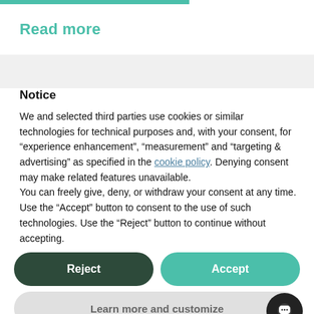Read more
Notice

We and selected third parties use cookies or similar technologies for technical purposes and, with your consent, for “experience enhancement”, “measurement” and “targeting & advertising” as specified in the cookie policy. Denying consent may make related features unavailable.
You can freely give, deny, or withdraw your consent at any time.
Use the “Accept” button to consent to the use of such technologies. Use the “Reject” button to continue without accepting.
Reject
Accept
Learn more and customize